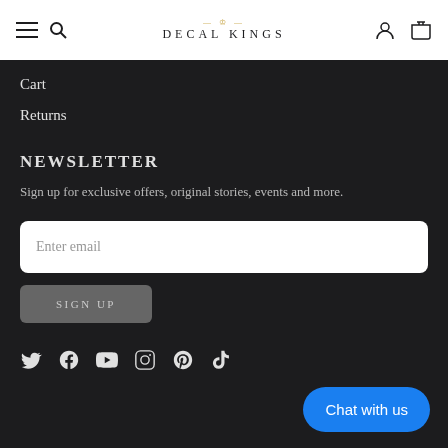DECAL KINGS
Cart
Returns
NEWSLETTER
Sign up for exclusive offers, original stories, events and more.
Enter email
SIGN UP
[Figure (infographic): Social media icons: Twitter, Facebook, YouTube, Instagram, Pinterest, TikTok]
Chat with us